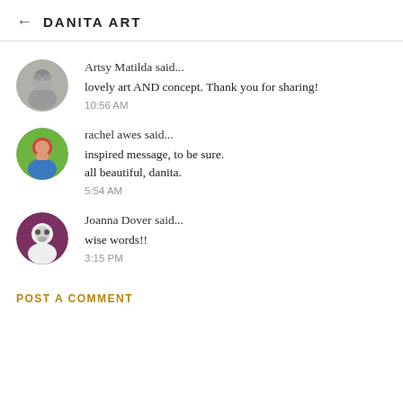← DANITA ART
Artsy Matilda said...
lovely art AND concept. Thank you for sharing!
10:56 AM
rachel awes said...
inspired message, to be sure.
all beautiful, danita.
5:54 AM
Joanna Dover said...
wise words!!
3:15 PM
POST A COMMENT